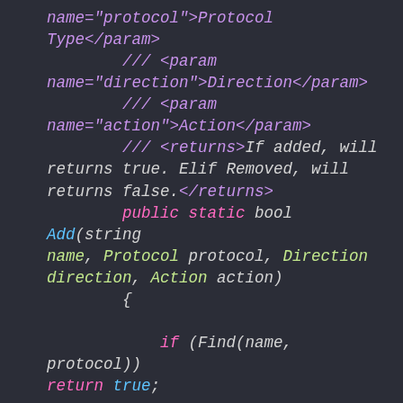[Figure (screenshot): Code editor screenshot showing C# XML documentation comments and a public static method signature with if statement and variable assignment. Dark background with syntax highlighting in violet, pink, cyan, green, and white.]